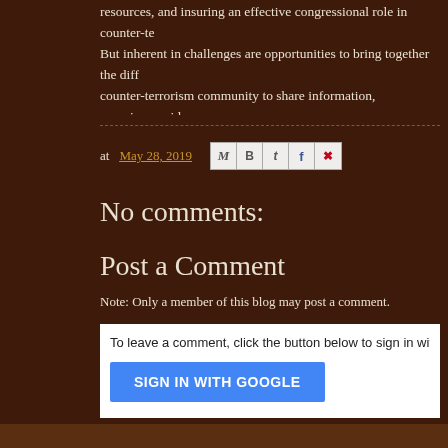resources, and insuring an effective congressional role in counter-te... But inherent in challenges are opportunities to bring together the diff... counter-terrorism community to share information, experiences, idea... suggestions about how to effectively deal with this growing national s... and public policy concern.
at May 28, 2019
No comments:
Post a Comment
Note: Only a member of this blog may post a comment.
To leave a comment, click the button below to sign in with...
SIGN IN WITH GOOGLE